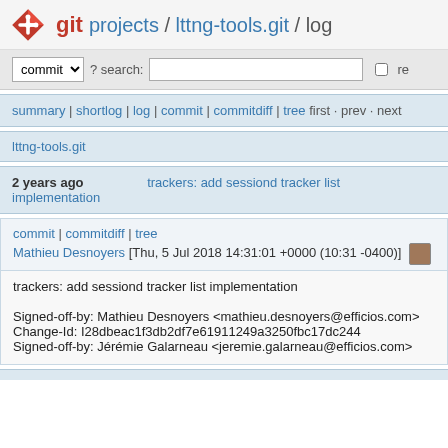git  projects / lttng-tools.git / log
commit ? search: re
summary | shortlog | log | commit | commitdiff | tree  first · prev · next
lttng-tools.git
2 years ago  trackers: add sessiond tracker list implementation
commit | commitdiff | tree
Mathieu Desnoyers [Thu, 5 Jul 2018 14:31:01 +0000 (10:31 -0400)]
trackers: add sessiond tracker list implementation

Signed-off-by: Mathieu Desnoyers <mathieu.desnoyers@efficios.com>
Change-Id: I28dbeac1f3db2df7e61911249a3250fbc17dc244
Signed-off-by: Jérémie Galarneau <jeremie.galarneau@efficios.com>